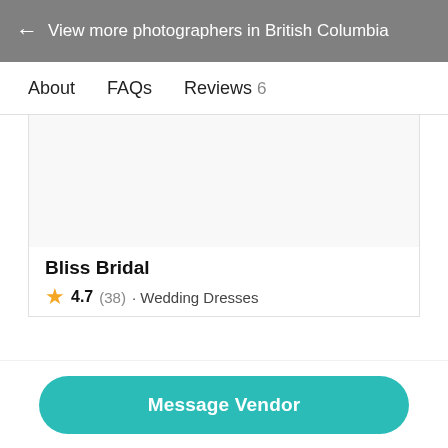← View more photographers in British Columbia
About   FAQs   Reviews 6
[Figure (other): Empty image area for a vendor listing card]
Bliss Bridal
★ 4.7 (38) · Wedding Dresses
Message Vendor